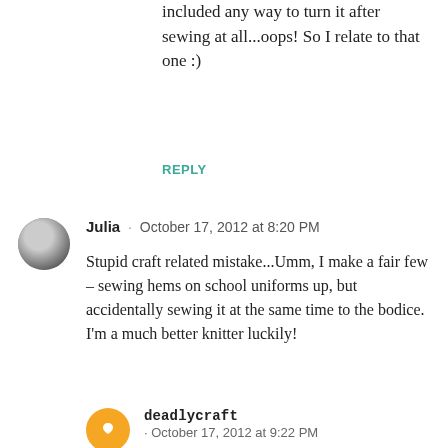included any way to turn it after sewing at all...oops! So I relate to that one :)
REPLY
Julia · October 17, 2012 at 8:20 PM
Stupid craft related mistake...Umm, I make a fair few – sewing hems on school uniforms up, but accidentally sewing it at the same time to the bodice. I'm a much better knitter luckily!
deadlycraft · October 17, 2012 at 9:22 PM
That's an especially irritating one, as it comes during sewing you have to do (mending) rather than sewing you want to do (new projects!). I